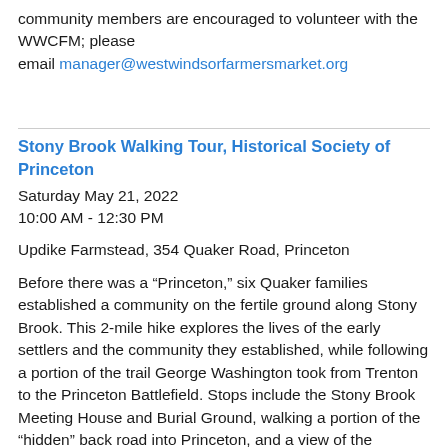community members are encouraged to volunteer with the WWCFM; please email manager@westwindsorfarmersmarket.org
Stony Brook Walking Tour, Historical Society of Princeton
Saturday May 21, 2022
10:00 AM - 12:30 PM
Updike Farmstead, 354 Quaker Road, Princeton
Before there was a “Princeton,” six Quaker families established a community on the fertile ground along Stony Brook. This 2-mile hike explores the lives of the early settlers and the community they established, while following a portion of the trail George Washington took from Trenton to the Princeton Battlefield. Stops include the Stony Brook Meeting House and Burial Ground, walking a portion of the “hidden” back road into Princeton, and a view of the